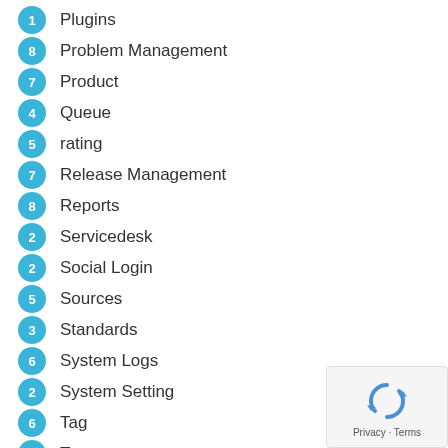1 Plugins
8 Problem Management
7 Product
4 Queue
5 rating
7 Release Management
8 Reports
2 Servicedesk
2 Social Login
5 Sources
3 Standards
6 System Logs
2 System Setting
6 Tag
5 Team
[Figure (logo): reCAPTCHA privacy badge with rotating arrows icon and Privacy - Terms text]